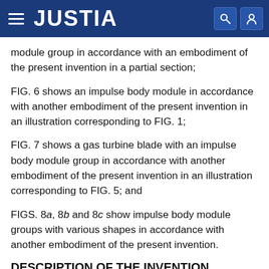JUSTIA
module group in accordance with an embodiment of the present invention in a partial section;
FIG. 6 shows an impulse body module in accordance with another embodiment of the present invention in an illustration corresponding to FIG. 1;
FIG. 7 shows a gas turbine blade with an impulse body module group in accordance with another embodiment of the present invention in an illustration corresponding to FIG. 5; and
FIGS. 8a, 8b and 8c show impulse body module groups with various shapes in accordance with another embodiment of the present invention.
DESCRIPTION OF THE INVENTION